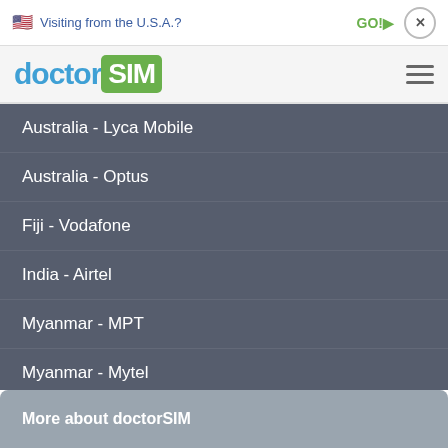Visiting from the U.S.A.?  GO!>  x
[Figure (logo): doctorSIM logo with hamburger menu icon]
Australia - Lyca Mobile
Australia - Optus
Fiji - Vodafone
India - Airtel
Myanmar - MPT
Myanmar - Mytel
Papua New Guinea - Digicel
Philippines - Globe
More about doctorSIM